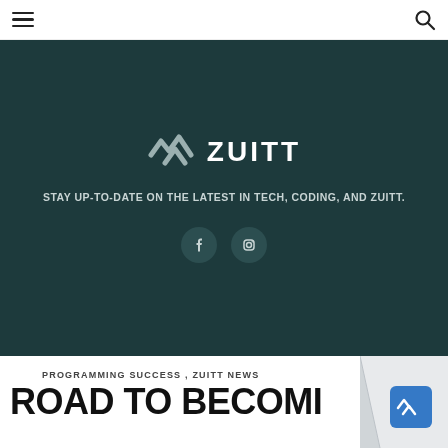Navigation bar with hamburger menu and search icon
[Figure (logo): Zuitt logo with stylized checkmark/zigzag icon in grey and white text 'ZUITT' on dark teal background]
STAY UP-TO-DATE ON THE LATEST IN TECH, CODING, AND ZUITT.
[Figure (infographic): Two circular dark social media icon buttons (Facebook and Instagram/LinkedIn) on dark teal background]
PROGRAMMING SUCCESS , ZUITT NEWS
ROAD TO BECOMI... EXCEPTIONALL...